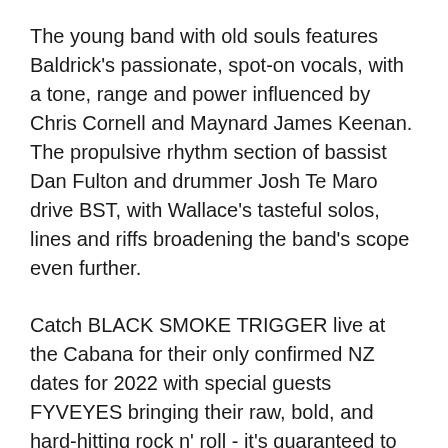The young band with old souls features Baldrick's passionate, spot-on vocals, with a tone, range and power influenced by Chris Cornell and Maynard James Keenan. The propulsive rhythm section of bassist Dan Fulton and drummer Josh Te Maro drive BST, with Wallace's tasteful solos, lines and riffs broadening the band's scope even further.
Catch BLACK SMOKE TRIGGER live at the Cabana for their only confirmed NZ dates for 2022 with special guests FYVEYES bringing their raw, bold, and hard-hitting rock n' roll - it's guaranteed to get LOUD.
Tickets available for the 2nd show on Saturday 2nd July here:
https://www.eventfinda.co.nz/2021/black-smoke-